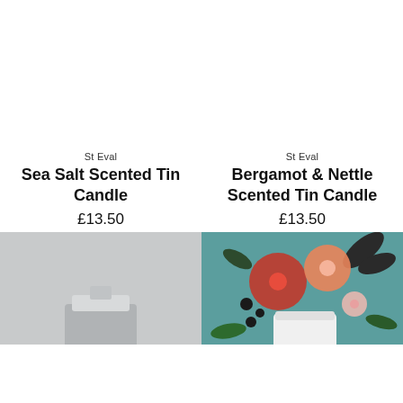St Eval
Sea Salt Scented Tin Candle
£13.50
St Eval
Bergamot & Nettle Scented Tin Candle
£13.50
[Figure (photo): Grey background photo of a candle tin, partially visible at bottom of page]
[Figure (photo): Colorful floral pattern background (teal/blue) with red and orange flowers and a white candle tin partially visible]